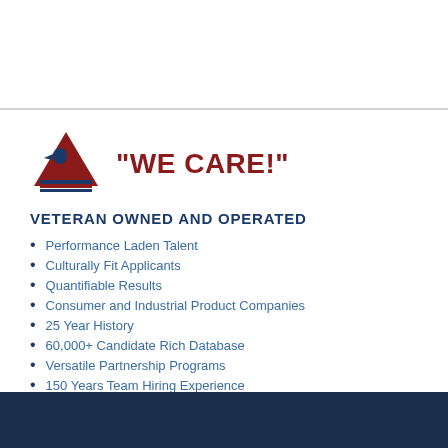[Figure (logo): Company logo with red triangle/eagle and horizontal stripes, next to the text WE CARE! in dark red bold font]
VETERAN OWNED AND OPERATED
Performance Laden Talent
Culturally Fit Applicants
Quantifiable Results
Consumer and Industrial Product Companies
25 Year History
60,000+ Candidate Rich Database
Versatile Partnership Programs
150 Years Team Hiring Experience